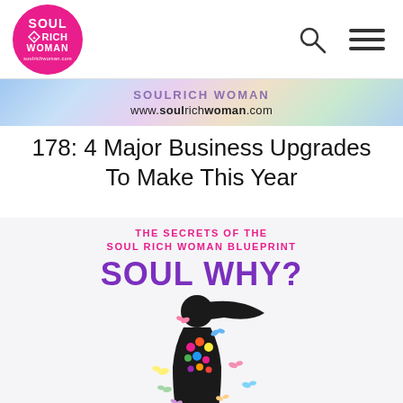[Figure (logo): Soul Rich Woman circular pink logo with text SOUL RICH WOMAN and a diamond shape in the center]
[Figure (infographic): Navigation header with search icon and hamburger menu icon]
[Figure (illustration): Colorful banner with text partially obscured at top and www.soulrichwoman.com URL]
178: 4 Major Business Upgrades To Make This Year
[Figure (illustration): Book cover illustration for Soul Why? - The Secrets of the Soul Rich Woman Blueprint, featuring a silhouette of a woman with flowers and butterflies]